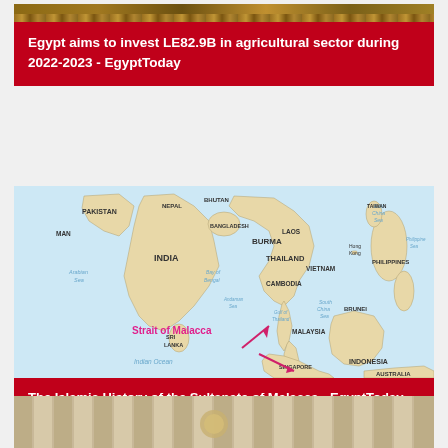[Figure (other): Decorative horizontal image strip at top of first card]
Egypt aims to invest LE82.9B in agricultural sector during 2022-2023 - EgyptToday
[Figure (map): Map of South and Southeast Asia showing the Strait of Malacca with labeled countries including Pakistan, Nepal, Bhutan, Bangladesh, India, Burma, Laos, Thailand, Vietnam, Cambodia, Malaysia, Singapore, Philippines, Brunei, Indonesia, Sri Lanka, and bodies of water including Arabian Sea, Bay of Bengal, Andaman Sea, Gulf of Thailand, South China Sea, East China Sea, Indian Ocean. Pink arrow and label pointing to Strait of Malacca.]
The Islamic History of the Sultanate of Malacca - EgyptToday
[Figure (photo): Partial photo showing decorative curtains or drapes with tassels, appears to be an interior scene]